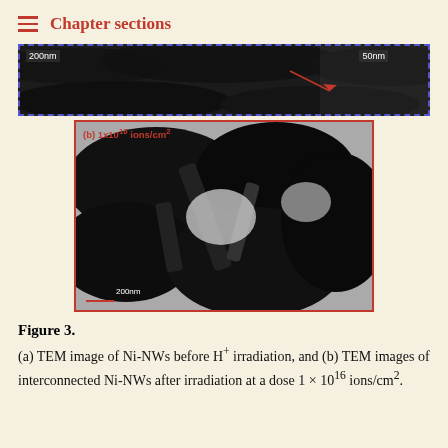Chapter sections
[Figure (photo): TEM micrograph panel (a) showing Ni nanowires before H+ irradiation with 200nm scale bar and inset with 50nm scale bar, displayed as a horizontal strip]
[Figure (photo): TEM micrograph panel (b) showing interconnected Ni-NWs after irradiation at a dose 1x10^16 ions/cm2, labeled in red at top-left, with 200nm red scale bar at bottom-left]
Figure 3. (a) TEM image of Ni-NWs before H+ irradiation, and (b) TEM images of interconnected Ni-NWs after irradiation at a dose 1 × 10^16 ions/cm2.